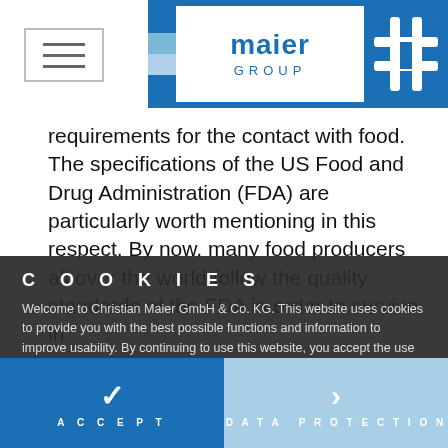[Figure (logo): Maier Group logo with blue stripes, hamburger menu icon, text 'maier GROUP', and blue puzzle hash icon]
requirements for the contact with food. The specifications of the US Food and Drug Administration (FDA) are particularly worth mentioning in this respect. By now, many food producers all over the world follow the quality standards of the FDA in order to survive in
resulted in particular specifications, not only, for example, with regard to food packaging but also to production plants, tubes, hoses, and pipelines.
COOKIES
Welcome to Christian Maier GmbH & Co. KG. This website uses cookies to provide you with the best possible functions and information to improve usability. By continuing to use this website, you accept the use of cookies.
ACCEPT | DATA PROTECTION